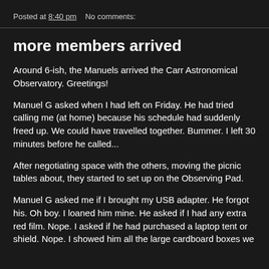Posted at 8:40 pm    No comments:
more members arrived
Around 6-ish, the Manuels arrived the Carr Astronomical Observatory. Greetings!
Manuel G asked when I had left on Friday. He had tried calling me (at home) because his schedule had suddenly freed up. We could have travelled together. Bummer. I left 30 minutes before he called...
After negotiating space with the others, moving the picnic tables about, they started to set up on the Observing Pad.
Manuel G asked me if I brought my USB adapter. He forgot his. Oh boy. I loaned him mine. He asked if I had any extra red film. Nope. I asked if he had purchased a laptop tent or shield. Nope. I showed him all the large cardboard boxes we